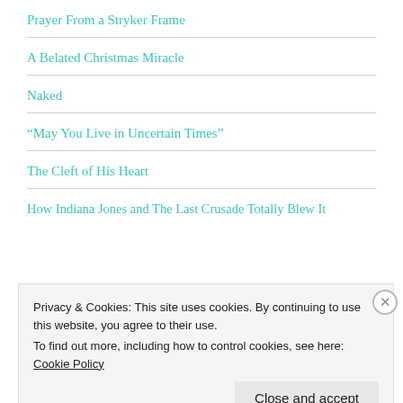Prayer From a Stryker Frame
A Belated Christmas Miracle
Naked
“May You Live in Uncertain Times”
The Cleft of His Heart
How Indiana Jones and The Last Crusade Totally Blew It
Privacy & Cookies: This site uses cookies. By continuing to use this website, you agree to their use.
To find out more, including how to control cookies, see here: Cookie Policy
Close and accept